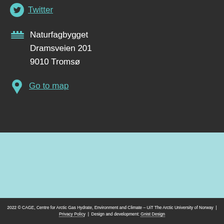Twitter
Naturfagbygget
Dramsveien 201
9010 Tromsø
Go to map
2022 © CAGE, Centre for Arctic Gas Hydrate, Environment and Climate – UiT The Arctic University of Norway  |  Privacy Policy  |  Design and development: Gnist Design